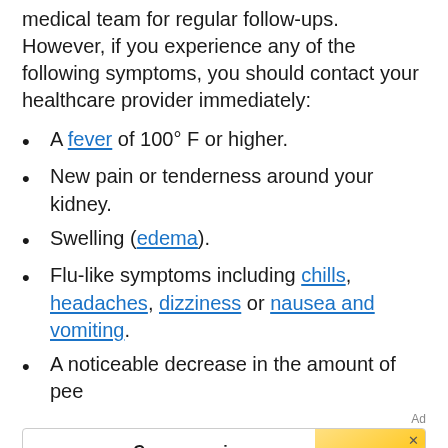medical team for regular follow-ups. However, if you experience any of the following symptoms, you should contact your healthcare provider immediately:
A fever of 100° F or higher.
New pain or tenderness around your kidney.
Swelling (edema).
Flu-like symptoms including chills, headaches, dizziness or nausea and vomiting.
A noticeable decrease in the amount of pee
[Figure (other): GoodRx advertisement banner: 'Compare prices on all your prescriptions' with GoodRx logo and yellow gradient image on right.]